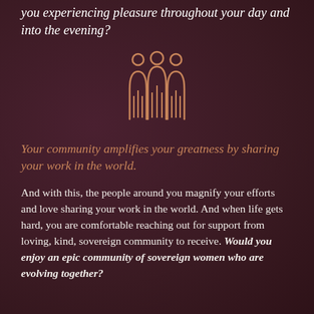you experiencing pleasure throughout your day and into the evening?
[Figure (illustration): A copper/bronze colored icon depicting three stylized human figures standing together, with rounded heads and arch-shaped bodies representing a community or group.]
Your community amplifies your greatness by sharing your work in the world.
And with this, the people around you magnify your efforts and love sharing your work in the world. And when life gets hard, you are comfortable reaching out for support from loving, kind, sovereign community to receive. Would you enjoy an epic community of sovereign women who are evolving together?